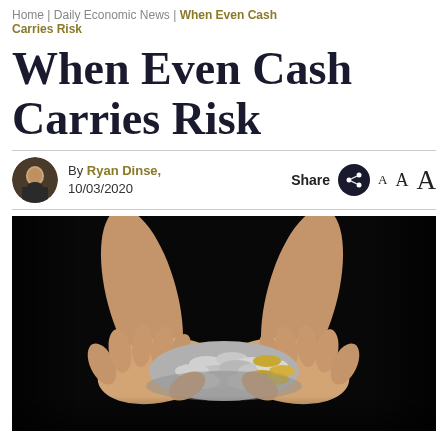Home | Daily Economic News | When Even Cash Carries Risk
When Even Cash Carries Risk
By Ryan Dinse, 10/03/2020
[Figure (photo): Two hands outstretched holding a large pile of silver and gold coins against a dark black background]